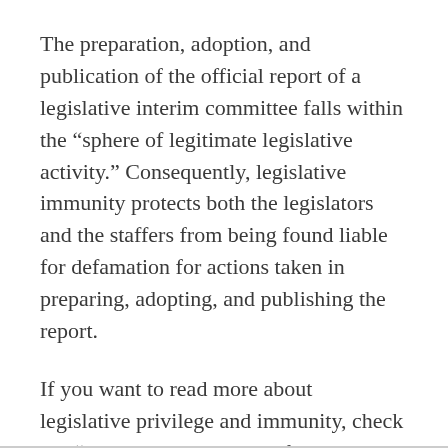The preparation, adoption, and publication of the official report of a legislative interim committee falls within the “sphere of legitimate legislative activity.” Consequently, legislative immunity protects both the legislators and the staffers from being found liable for defamation for actions taken in preparing, adopting, and publishing the report.
If you want to read more about legislative privilege and immunity, check out “A Look at the Limits of Legislative Immunity.”